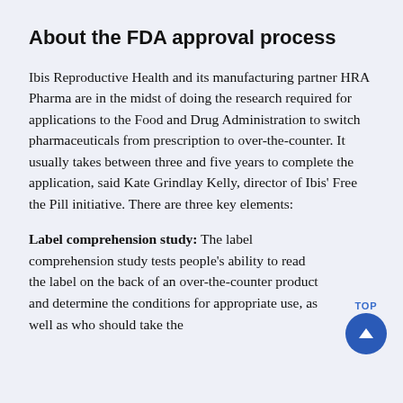About the FDA approval process
Ibis Reproductive Health and its manufacturing partner HRA Pharma are in the midst of doing the research required for applications to the Food and Drug Administration to switch pharmaceuticals from prescription to over-the-counter. It usually takes between three and five years to complete the application, said Kate Grindlay Kelly, director of Ibis' Free the Pill initiative. There are three key elements:
Label comprehension study: The label comprehension study tests people's ability to read the label on the back of an over-the-counter product and determine the conditions for appropriate use, as well as who should take the